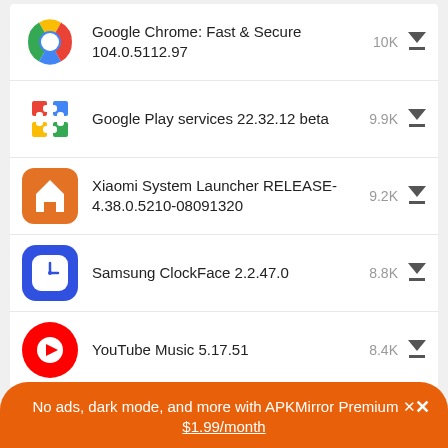Google Chrome: Fast & Secure 104.0.5112.97 — 10K downloads
Google Play services 22.32.12 beta — 9.9K downloads
Xiaomi System Launcher RELEASE-4.38.0.5210-08091320 — 9.2K downloads
Samsung ClockFace 2.2.47.0 — 8.8K downloads
YouTube Music 5.17.51 — 8.4K downloads
Popular In Last 24 Hours
No ads, dark mode, and more with APKMirror Premium × $1.99/month